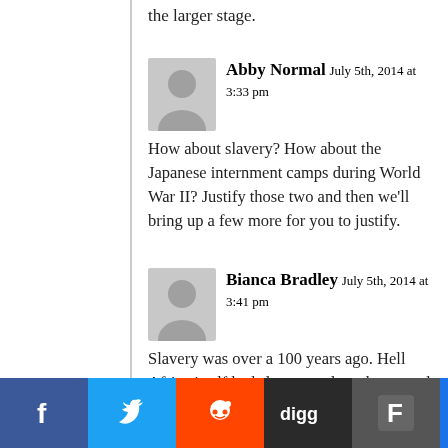the larger stage.
Abby Normal July 5th, 2014 at 3:33 pm
How about slavery? How about the Japanese internment camps during World War II? Justify those two and then we'll bring up a few more for you to justify.
Bianca Bradley July 5th, 2014 at 3:41 pm
Slavery was over a 100 years ago. Hell Africa itself had slavery and can be argued in some parts to STILL have slavery.
a... m... camps, world war two and dealing with a culture that was